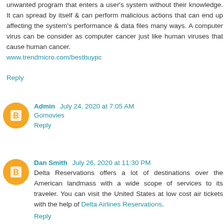unwanted program that enters a user's system without their knowledge. It can spread by itself & can perform malicious actions that can end up affecting the system's performance & data files many ways. A computer virus can be consider as computer cancer just like human viruses that cause human cancer.
www.trendmicro.com/bestbuypc
Reply
Admin  July 24, 2020 at 7:05 AM
Gomovies
Reply
Dan Smith  July 26, 2020 at 11:30 PM
Delta Reservations offers a lot of destinations over the American landmass with a wide scope of services to its traveler. You can visit the United States at low cost air tickets with the help of Delta Airlines Reservations.
Reply